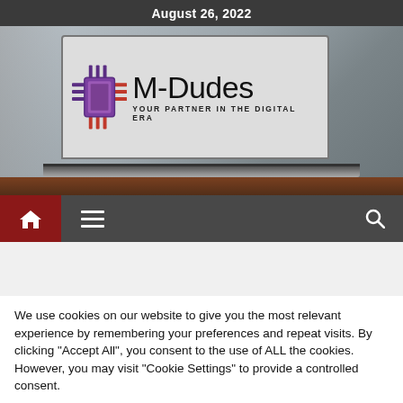August 26, 2022
[Figure (logo): M-Dudes logo on laptop screen: stylized circuit chip icon with red and blue/purple connectors, brand name 'M-Dudes' in handwritten style, tagline 'YOUR PARTNER IN THE DIGITAL ERA'. Laptop on a table, blurred office background.]
[Figure (infographic): Navigation bar with red home button, hamburger menu icon, and search icon on dark gray background.]
We use cookies on our website to give you the most relevant experience by remembering your preferences and repeat visits. By clicking "Accept All", you consent to the use of ALL the cookies. However, you may visit "Cookie Settings" to provide a controlled consent.